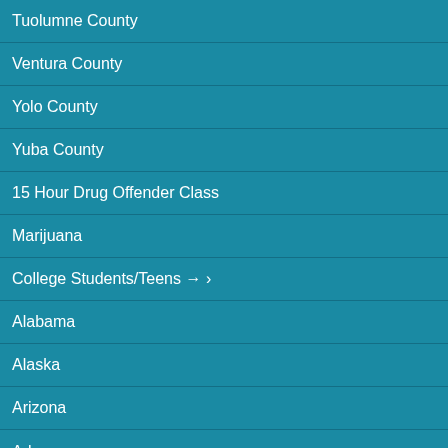Tuolumne County
Ventura County
Yolo County
Yuba County
15 Hour Drug Offender Class
Marijuana
College Students/Teens → ›
Alabama
Alaska
Arizona
Arkansas